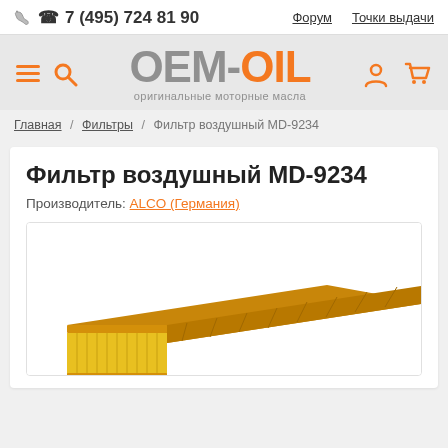7 (495) 724 81 90   Форум   Точки выдачи
[Figure (logo): OEM-OIL logo with orange and gray text, subtitle: оригинальные моторные масла]
Главная / Фильтры / Фильтр воздушный MD-9234
Фильтр воздушный MD-9234
Производитель: ALCO (Германия)
[Figure (photo): Air filter MD-9234 product photo — rectangular orange and yellow filter element, partially visible at bottom of image box]